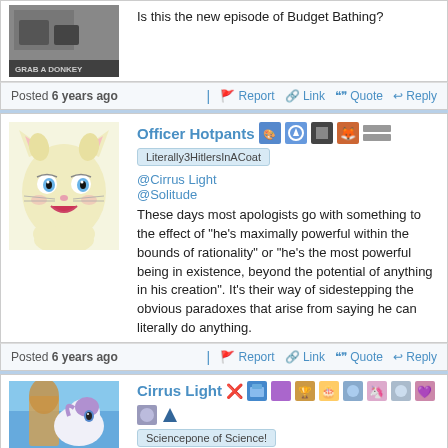[Figure (screenshot): Partial forum post showing a grayscale photo with 'GRAB A DONKEY' text, with partial text 'Is this the new episode of Budget Bathing?']
Is this the new episode of Budget Bathing?
Posted 6 years ago  |  Report  |  Link  Quote  Reply
Officer Hotpants
Literally3HitlersInACoat
@Cirrus Light
@Solitude
These days most apologists go with something to the effect of "he's maximally powerful within the bounds of rationality" or "he's the most powerful being in existence, beyond the potential of anything in his creation". It's their way of sidestepping the obvious paradoxes that arise from saying he can literally do anything.
Posted 6 years ago  |  Report  |  Link  Quote  Reply
Cirrus Light
Sciencepone of Science!